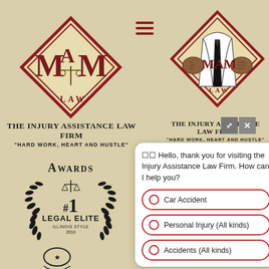[Figure (logo): MAM Law diamond logo with scales of justice — The Injury Assistance Law Firm]
THE INJURY ASSISTANCE LAW FIRM
"HARD WORK, HEART AND HUSTLE"
[Figure (logo): MAM Law attorney figure logo — The Injury Assistance Law Firm]
THE INJURY ASSISTANCE LAW FIRM
"HARD WORK, HEART AND HUSTLE"
Awards
[Figure (illustration): #1 Legal Elite Illinois Style award badge with scales of justice and laurel wreath]
☐☐ Hello, thank you for visiting the Injury Assistance Law Firm. How can I help you?
Car Accident
Personal Injury (All kinds)
Accidents (All kinds)